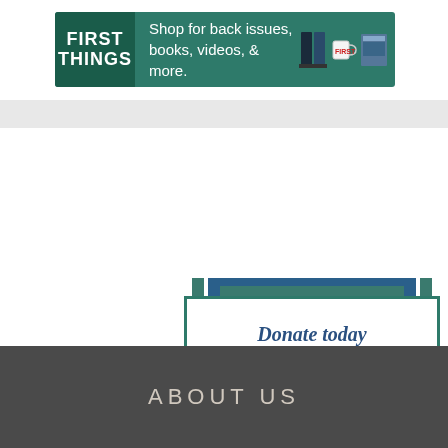[Figure (logo): First Things banner advertisement: green background with 'FIRST THINGS' logo, text 'Shop for back issues, books, videos, & more.' with book and mug icons]
[Figure (infographic): Donation box with teal border and blue accent shapes. Text: 'Donate today to FIRST THINGS. Your financial support allows us to be the voice of truth.']
ABOUT US